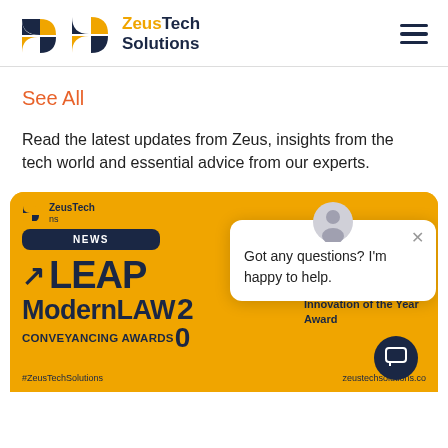[Figure (logo): ZeusTech Solutions logo with orange and dark blue geometric icon]
See All
Read the latest updates from Zeus, insights from the tech world and essential advice from our experts.
[Figure (screenshot): ZeusTech Solutions news card on gold background featuring LEAP ModernLAW Conveyancing Awards, with chat popup overlay saying 'Got any questions? I'm happy to help.']